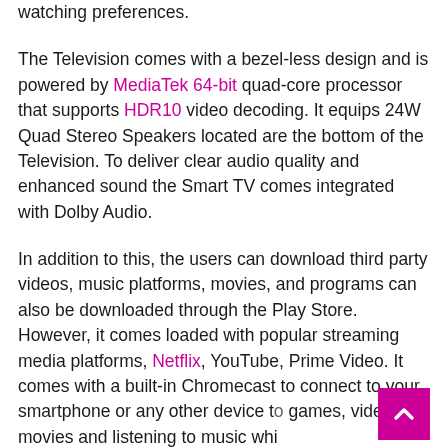watching preferences.
The Television comes with a bezel-less design and is powered by MediaTek 64-bit quad-core processor that supports HDR10 video decoding. It equips 24W Quad Stereo Speakers located are the bottom of the Television. To deliver clear audio quality and enhanced sound the Smart TV comes integrated with Dolby Audio.
In addition to this, the users can download third party videos, music platforms, movies, and programs can also be downloaded through the Play Store. However, it comes loaded with popular streaming media platforms, Netflix, YouTube, Prime Video. It comes with a built-in Chromecast to connect to your smartphone or any other device to games, videos, movies and listening to music whi...